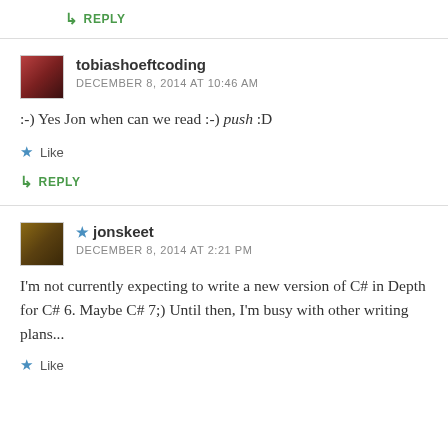↳ REPLY
tobiashoeftcoding
DECEMBER 8, 2014 AT 10:46 AM
:-) Yes Jon when can we read :-) push :D
★ Like
↳ REPLY
★ jonskeet
DECEMBER 8, 2014 AT 2:21 PM
I'm not currently expecting to write a new version of C# in Depth for C# 6. Maybe C# 7;) Until then, I'm busy with other writing plans...
★ Like